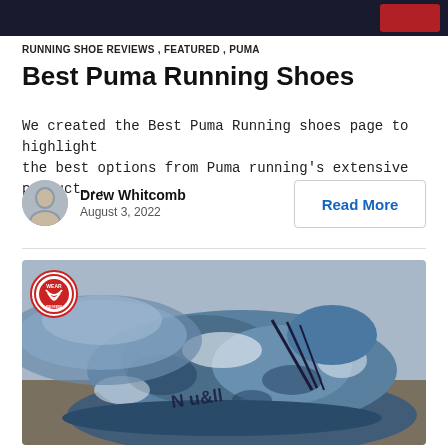[Figure (photo): Dark banner image at the top of the page]
RUNNING SHOE REVIEWS , FEATURED , PUMA
Best Puma Running Shoes
We created the Best Puma Running shoes page to highlight the best options from Puma running's extensive product...
Drew Whitcomb
August 3, 2022
Read More
[Figure (photo): Close-up photo of a blue camouflage patterned Puma running shoe on a rocky outdoor surface, with a Wear Tester Review badge in the top-left corner]